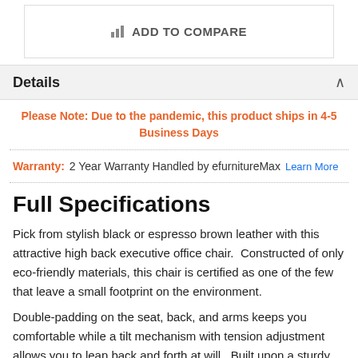ADD TO COMPARE
Details
Please Note: Due to the pandemic, this product ships in 4-5 Business Days
Warranty: 2 Year Warranty Handled by efurnitureMax Learn More
Full Specifications
Pick from stylish black or espresso brown leather with this attractive high back executive office chair. Constructed of only eco-friendly materials, this chair is certified as one of the few that leave a small footprint on the environment.
Double-padding on the seat, back, and arms keeps you comfortable while a tilt mechanism with tension adjustment allows you to lean back and forth at will. Built upon a sturdy, titanium finished base, this chair was built to last - backed by a